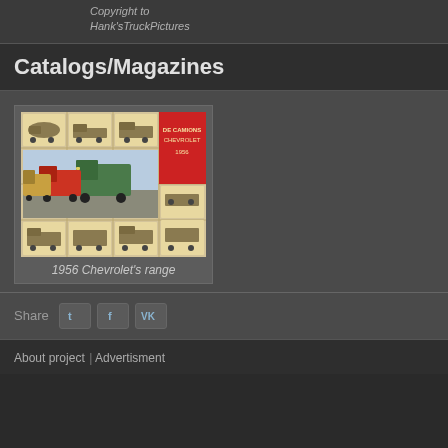Copyright to
Hank'sTruckPictures
Catalogs/Magazines
[Figure (photo): 1956 Chevrolet truck catalog cover showing a grid of truck illustrations with a red panel on the right side, and larger color images of Chevrolet trucks in the center.]
1956 Chevrolet's range
Share
About project |  Advertisment